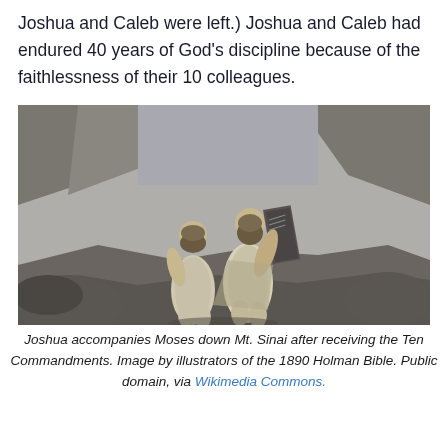Joshua and Caleb were left.) Joshua and Caleb had endured 40 years of God's discipline because of the faithlessness of their 10 colleagues.
[Figure (illustration): Black and white engraving of two robed figures walking down a rocky mountain path. The figure on the right carries large stone tablets. This depicts Joshua accompanying Moses down Mt. Sinai after receiving the Ten Commandments. Image by illustrators of the 1890 Holman Bible.]
Joshua accompanies Moses down Mt. Sinai after receiving the Ten Commandments. Image by illustrators of the 1890 Holman Bible. Public domain, via Wikimedia Commons.